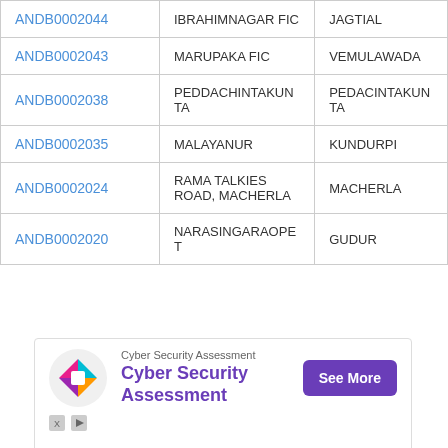| ANDB0002044 | IBRAHIMNAGAR FIC | JAGTIAL |
| ANDB0002043 | MARUPAKA FIC | VEMULAWADA |
| ANDB0002038 | PEDDACHINTAKUNTA | PEDACINTAKUNTA |
| ANDB0002035 | MALAYANUR | KUNDURPI |
| ANDB0002024 | RAMA TALKIES ROAD, MACHERLA | MACHERLA |
| ANDB0002020 | NARASINGARAOPET | GUDUR |
[Figure (infographic): Cyber Security Assessment advertisement banner with logo, title text, and See More button]